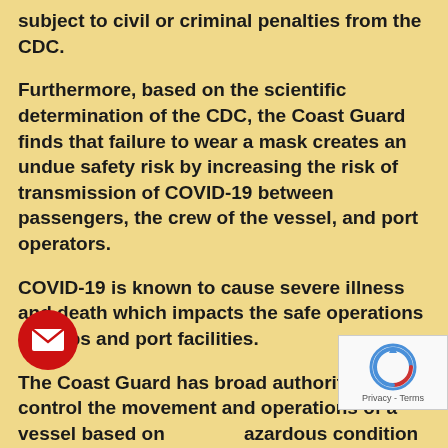subject to civil or criminal penalties from the CDC.
Furthermore, based on the scientific determination of the CDC, the Coast Guard finds that failure to wear a mask creates an undue safety risk by increasing the risk of transmission of COVID-19 between passengers, the crew of the vessel, and port operators.
COVID-19 is known to cause severe illness and death which impacts the safe operations of ships and port facilities.
The Coast Guard has broad authority to control the movement and operations of a vessel based on a hazardous condition found on that vessel (33 CFR § 160.111). Vessels that have not implemented the mask requirement may be issued a Captain of the Port (COTP) order directing the